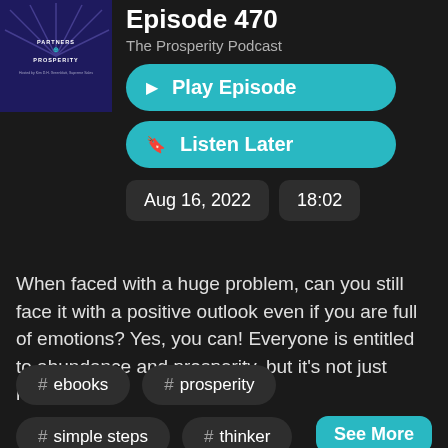[Figure (illustration): Podcast thumbnail for Partners & Prosperity with dark purple/blue background and decorative rays]
Episode 470
The Prosperity Podcast
▶ Play Episode
🔖 Listen Later
Aug 16, 2022
18:02
When faced with a huge problem, can you still face it with a positive outlook even if you are full of emotions? Yes, you can! Everyone is entitled to abundance and prosperity, but it's not just handed to
See More
# ebooks
# prosperity
# simple steps
# thinker